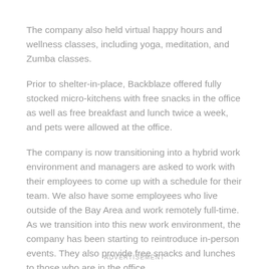The company also held virtual happy hours and wellness classes, including yoga, meditation, and Zumba classes.
Prior to shelter-in-place, Backblaze offered fully stocked micro-kitchens with free snacks in the office as well as free breakfast and lunch twice a week, and pets were allowed at the office.
The company is now transitioning into a hybrid work environment and managers are asked to work with their employees to come up with a schedule for their team. We also have some employees who live outside of the Bay Area and work remotely full-time. As we transition into this new work environment, the company has been starting to reintroduce in-person events. They also provide free snacks and lunches to those who are in the office.
ADVERTISEMENT